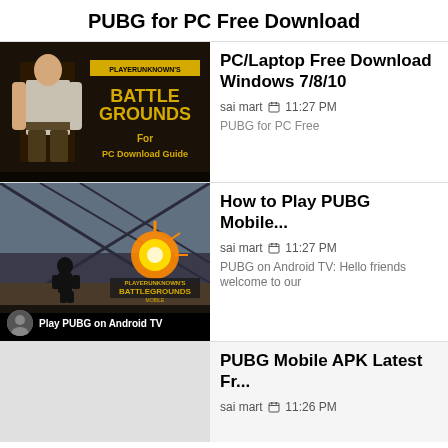PUBG for PC Free Download
[Figure (screenshot): PUBG Battlegrounds for PC Download Guide thumbnail with player character and logo]
PC/Laptop Free Download Windows 7/8/10
sai mart 🗓 11:27 PM
PUBG for PC Free
[Figure (screenshot): PUBG Mobile Battlegrounds thumbnail showing explosion on bridge, Play PUBG on Android TV]
How to Play PUBG Mobile...
sai mart 🗓 11:27 PM
PUBG on Android TV: Hello friends welcome to our
PUBG Mobile APK Latest Fr...
sai mart 🗓 11:26 PM